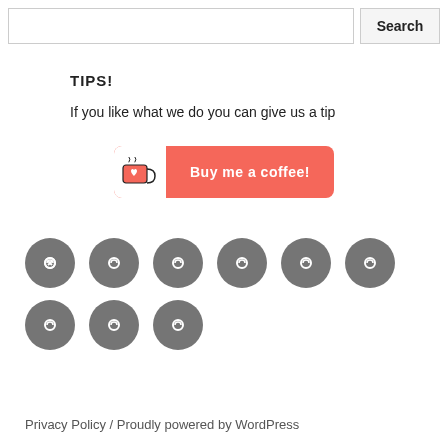[Figure (screenshot): Search bar with input field and Search button]
TIPS!
If you like what we do you can give us a tip
[Figure (illustration): Buy me a coffee button with coffee cup icon]
[Figure (infographic): Nine social/link icon circles arranged in two rows]
Privacy Policy / Proudly powered by WordPress